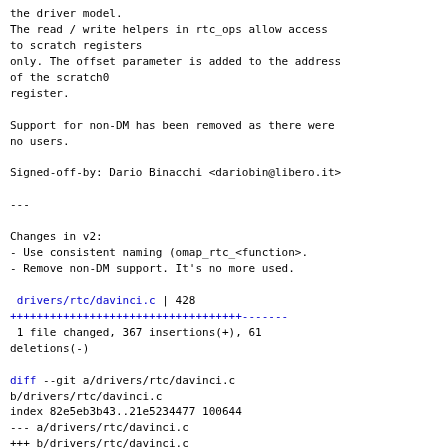the driver model.
The read / write helpers in rtc_ops allow access to scratch registers
only. The offset parameter is added to the address of the scratch0
register.

Support for non-DM has been removed as there were no users.

Signed-off-by: Dario Binacchi <dariobin@libero.it>

---

Changes in v2:
- Use consistent naming (omap_rtc_<function>.
- Remove non-DM support. It's no more used.

 drivers/rtc/davinci.c | 428
+++++++++++++++++++++++++++++++++++-------
 1 file changed, 367 insertions(+), 61 deletions(-)

diff --git a/drivers/rtc/davinci.c b/drivers/rtc/davinci.c
index 82e5eb3b43..21e5234477 100644
--- a/drivers/rtc/davinci.c
+++ b/drivers/rtc/davinci.c
@@ -2,127 +2,433 @@
 /*